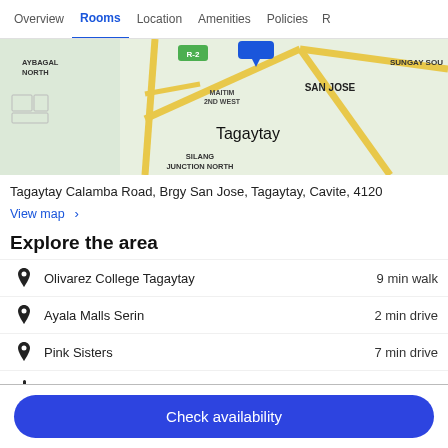Overview | Rooms | Location | Amenities | Policies | R...
[Figure (map): Map showing Tagaytay area with roads including R-2, Maitim 2nd West, San Jose, Sungay South, Silang Junction North, Aybagal North labeled, with yellow road lines on light green background]
Tagaytay Calamba Road, Brgy San Jose, Tagaytay, Cavite, 4120
View map ›
Explore the area
Olivarez College Tagaytay — 9 min walk
Ayala Malls Serin — 2 min drive
Pink Sisters — 7 min drive
Manila (MNL-Ninoy Aquino Intl.) — 96 min drive
Check availability